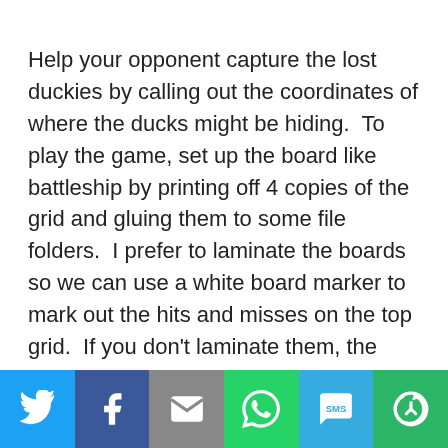Help your opponent capture the lost duckies by calling out the coordinates of where the ducks might be hiding.  To play the game, set up the board like battleship by printing off 4 copies of the grid and gluing them to some file folders.  I prefer to laminate the boards so we can use a white board marker to mark out the hits and misses on the top grid.  If you don't laminate them, the players can write lightly with pencil and then erase them when the game is done.
[Figure (infographic): Social media sharing bar with six buttons: Twitter (blue bird icon), Facebook (dark blue f icon), Email (grey envelope icon), WhatsApp (green phone icon), SMS (light blue SMS bubble icon), More (green circle-arrow icon)]